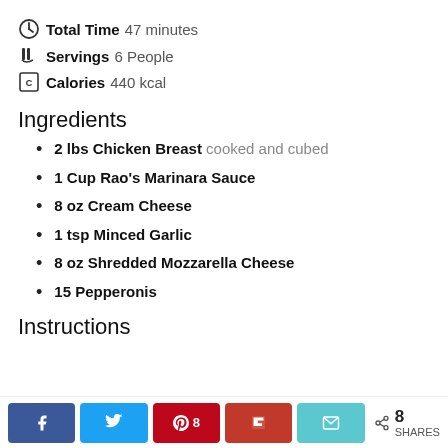Total Time 47 minutes
Servings 6 People
Calories 440 kcal
Ingredients
2 lbs Chicken Breast cooked and cubed
1 Cup Rao's Marinara Sauce
8 oz Cream Cheese
1 tsp Minced Garlic
8 oz Shredded Mozzarella Cheese
15 Pepperonis
Instructions